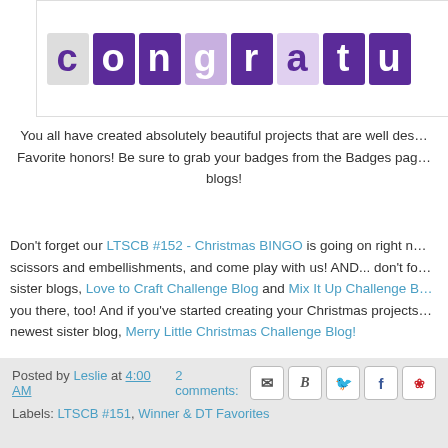[Figure (illustration): Congratulations banner with colorful letter tiles in purple and white on dark purple backgrounds, spelling 'Congratulation' (partially visible)]
You all have created absolutely beautiful projects that are well deserving of Winner and Top Favorite honors! Be sure to grab your badges from the Badges page and display them on your blogs!
Don't forget our LTSCB #152 - Christmas BINGO is going on right now! Grab your scissors and embellishments, and come play with us! AND... don't forget to visit our sister blogs, Love to Craft Challenge Blog and Mix It Up Challenge Blog — we'll see you there, too! And if you've started creating your Christmas projects already, visit our newest sister blog, Merry Little Christmas Challenge Blog!
Hugs,
The Scrappy Girls
Posted by Leslie at 4:00 AM   2 comments:
Labels: LTSCB #151, Winner & DT Favorites